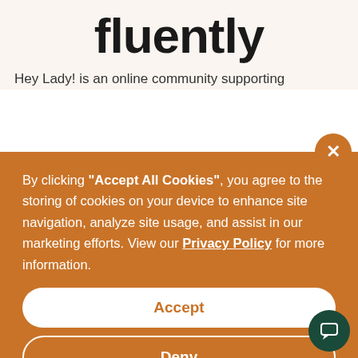fluently
Hey Lady! is an online community supporting
By clicking "Accept All Cookies", you agree to the storing of cookies on your device to enhance site navigation, analyze site usage, and assist in our marketing efforts. View our Privacy Policy for more information.
Accept
Deny
Preferences